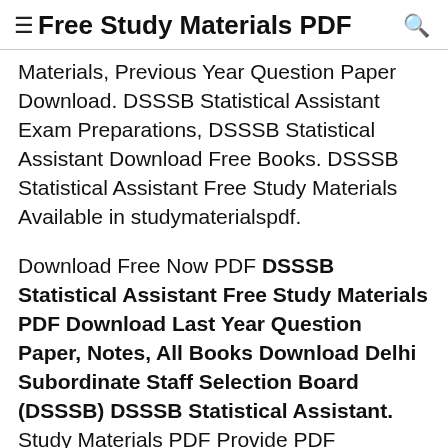≡ Free Study Materials PDF 🔍
Materials, Previous Year Question Paper Download. DSSSB Statistical Assistant Exam Preparations, DSSSB Statistical Assistant Download Free Books. DSSSB Statistical Assistant Free Study Materials Available in studymaterialspdf.
Download Free Now PDF DSSSB Statistical Assistant Free Study Materials PDF Download Last Year Question Paper, Notes, All Books Download Delhi Subordinate Staff Selection Board (DSSSB) DSSSB Statistical Assistant. Study Materials PDF Provide PDF